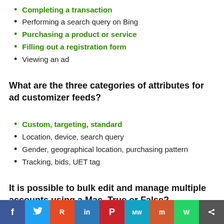Completing a transaction
Performing a search query on Bing
Purchasing a product or service
Filling out a registration form
Viewing an ad
What are the three categories of attributes for ad customizer feeds?
Custom, targeting, standard
Location, device, search query
Gender, geographical location, purchasing pattern
Tracking, bids, UET tag
It is possible to bulk edit and manage multiple accounts using a Mac. True or False?